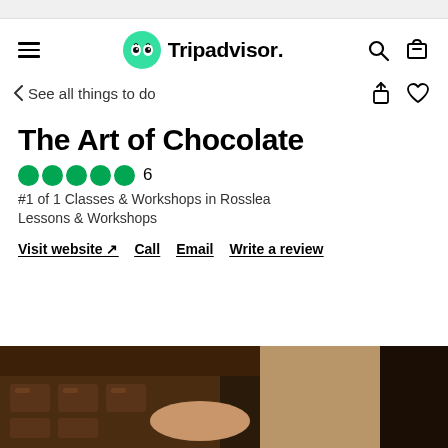Tripadvisor navigation bar with hamburger menu, Tripadvisor logo, search and cart icons
< See all things to do
The Art of Chocolate
5 stars  6
#1 of 1 Classes & Workshops in Rosslea
Lessons & Workshops
Visit website ↗   Call   Email   Write a review
[Figure (photo): Photo of a person with long blonde hair working with chocolate, visible chocolate molds and dark chocolate in the foreground]